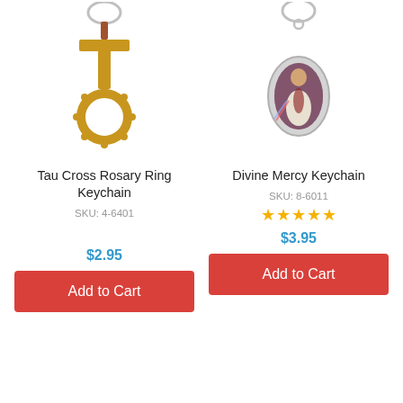[Figure (photo): Tau Cross Rosary Ring Keychain - a wooden tau cross shaped like a rosary ring with a metal key ring on top]
Tau Cross Rosary Ring Keychain
SKU: 4-6401
$2.95
Add to Cart
[Figure (photo): Divine Mercy Keychain - an oval silver metal keychain with an image of Divine Mercy Jesus inside, with a metal key ring on top]
Divine Mercy Keychain
SKU: 8-6011
★★★★★
$3.95
Add to Cart